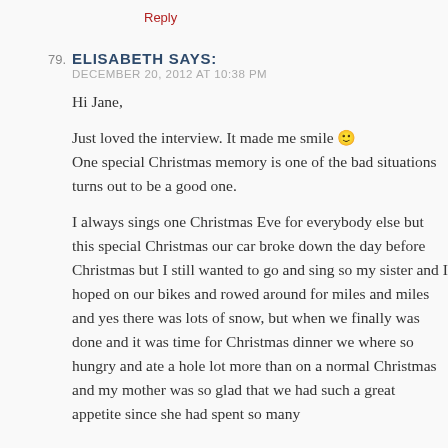Reply
79. ELISABETH SAYS:
DECEMBER 20, 2012 AT 10:38 PM
Hi Jane,
Just loved the interview. It made me smile 🙂 One special Christmas memory is one of the bad situations turns out to be a good one.
I always sings one Christmas Eve for everybody else but this special Christmas our car broke down the day before Christmas but I still wanted to go and sing so my sister and I hoped on our bikes and rowed around for miles and miles and yes there was lots of snow, but when we finally was done and it was time for Christmas dinner we where so hungry and ate a hole lot more than on a normal Christmas and my mother was so glad that we had such a great appetite since she had spent so many